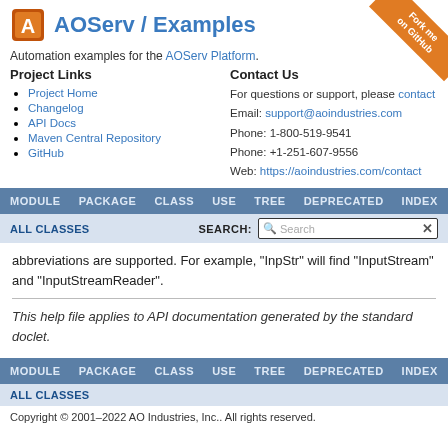AOServ / Examples
Automation examples for the AOServ Platform.
Project Links
Project Home
Changelog
API Docs
Maven Central Repository
GitHub
Contact Us
For questions or support, please contact
Email: support@aoindustries.com
Phone: 1-800-519-9541
Phone: +1-251-607-9556
Web: https://aoindustries.com/contact
MODULE   PACKAGE   CLASS   USE   TREE   DEPRECATED   INDEX
ALL CLASSES
SEARCH:
abbreviations are supported. For example, "InpStr" will find "InputStream" and "InputStreamReader".
This help file applies to API documentation generated by the standard doclet.
MODULE   PACKAGE   CLASS   USE   TREE   DEPRECATED   INDEX
ALL CLASSES
Copyright © 2001–2022 AO Industries, Inc.. All rights reserved.